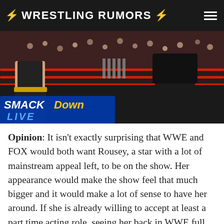⚡ WRESTLING RUMORS ⚡
[Figure (photo): Wrestling match scene showing two wrestlers in a WWE ring with SmackDown Live logo overlay. Arena crowd visible in background.]
Opinion: It isn't exactly surprising that WWE and FOX would both want Rousey, a star with a lot of mainstream appeal left, to be on the show. Her appearance would make the show feel that much bigger and it would make a lot of sense to have her around. If she is already willing to accept at least a part time acting role, seeing her back in WWE full time isn't the furthest next step.